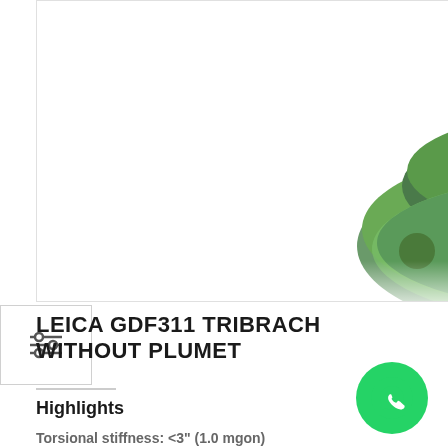[Figure (photo): Photo of Leica GDF311 Tribrach surveying instrument in green color, showing top and side view of the device]
LEICA GDF311 TRIBRACH WITHOUT PLUMET
Highlights
Torsional stiffness: <3" (1.0 mgon)
Angular accuracy of 5" to 7"